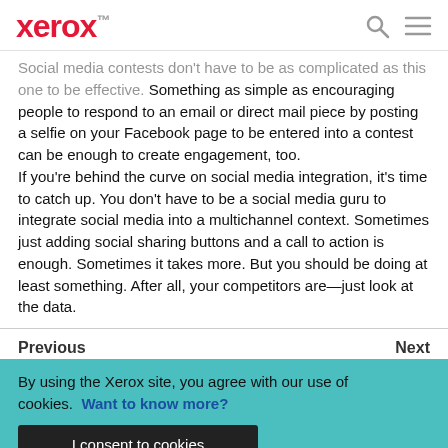xerox™
Social media contests don't have to be as complicated as this one to be effective. Something as simple as encouraging people to respond to an email or direct mail piece by posting a selfie on your Facebook page to be entered into a contest can be enough to create engagement, too.
If you're behind the curve on social media integration, it's time to catch up. You don't have to be a social media guru to integrate social media into a multichannel context. Sometimes just adding social sharing buttons and a call to action is enough. Sometimes it takes more. But you should be doing at least something. After all, your competitors are—just look at the data.
Previous    Next
By using the Xerox site, you agree with our use of cookies. Want to know more?
I consent to cookies
[Figure (photo): Bottom of page showing partial image with teal/cyan background and colorful elements]